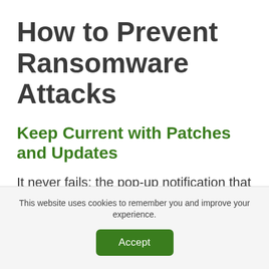How to Prevent Ransomware Attacks
Keep Current with Patches and Updates
It never fails; the pop-up notification that there’s a necessary update to your anti-virus software or firewall upgrade usually arrives right when you’re in the middle of something, so “now’s not a good time.”
This website uses cookies to remember you and improve your experience.